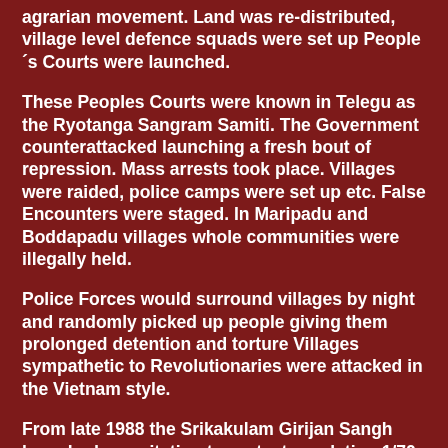agrarian movement. Land was re-distributed, village level defence squads were set up People´s Courts were launched.
These Peoples Courts were known in Telegu as the Ryotanga Sangram Samiti. The Government counterattacked launching a fresh bout of repression. Mass arrests took place. Villages were raided, police camps were set up etc. False Encounters were staged. In Maripadu and Boddapadu villages whole communities were illegally held.
Police Forces would surround villages by night and randomly picked up people giving them prolonged detention and torture Villages sympathetic to Revolutionaries were attacked in the Vietnam style.
From late 1988 the Srikakulam Girijan Sangh launched an agitation to protect regulation 1/70 that protected the land rights of the Girijans.The agitation had a significant impact on the girijans  and had enormous political